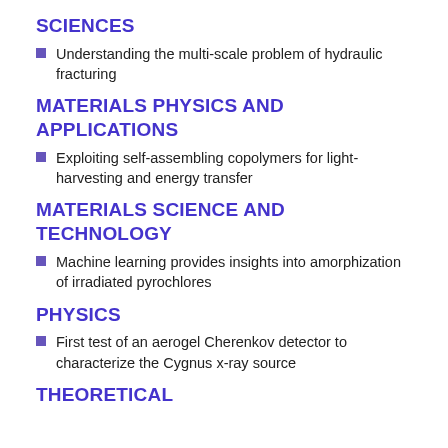SCIENCES
Understanding the multi-scale problem of hydraulic fracturing
MATERIALS PHYSICS AND APPLICATIONS
Exploiting self-assembling copolymers for light-harvesting and energy transfer
MATERIALS SCIENCE AND TECHNOLOGY
Machine learning provides insights into amorphization of irradiated pyrochlores
PHYSICS
First test of an aerogel Cherenkov detector to characterize the Cygnus x-ray source
THEORETICAL